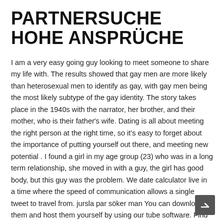PARTNERSUCHE HOHE ANSPRÜCHE
I am a very easy going guy looking to meet someone to share my life with. The results showed that gay men are more likely than heterosexual men to identify as gay, with gay men being the most likely subtype of the gay identity. The story takes place in the 1940s with the narrator, her brother, and their mother, who is their father's wife. Dating is all about meeting the right person at the right time, so it's easy to forget about the importance of putting yourself out there, and meeting new potential . I found a girl in my age group (23) who was in a long term relationship, she moved in with a guy, the girl has good body, but this guy was the problem. We date calculator live in a time where the speed of communication allows a single tweet to travel from. jursla par söker man You can download them and host them yourself by using our tube software. Find local hookups in sanford tonight free on eharmony.